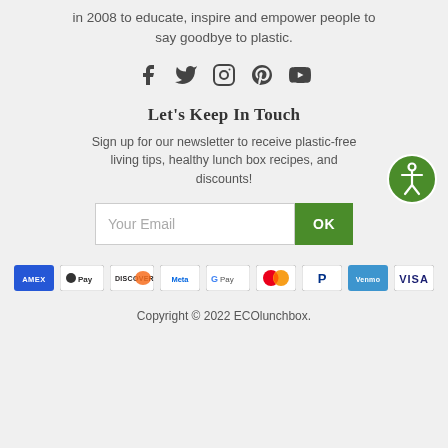in 2008 to educate, inspire and empower people to say goodbye to plastic.
[Figure (illustration): Social media icons: Facebook, Twitter, Instagram, Pinterest, YouTube]
Let's Keep In Touch
Sign up for our newsletter to receive plastic-free living tips, healthy lunch box recipes, and discounts!
[Figure (illustration): Email input field with Your Email placeholder and green OK button]
[Figure (illustration): Payment method logos: AMEX, Apple Pay, Discover, Meta, Google Pay, Mastercard, PayPal, Venmo, VISA]
Copyright © 2022 ECOlunchbox.